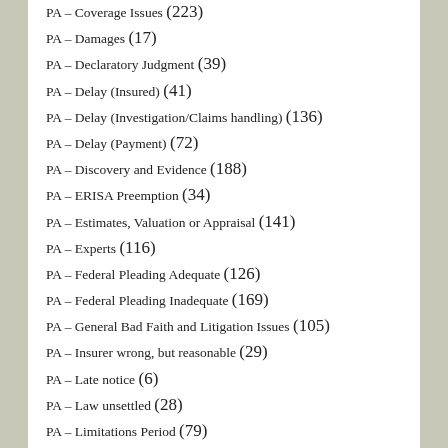PA – Coverage Issues (223)
PA – Damages (17)
PA – Declaratory Judgment (39)
PA – Delay (Insured) (41)
PA – Delay (Investigation/Claims handling) (136)
PA – Delay (Payment) (72)
PA – Discovery and Evidence (188)
PA – ERISA Preemption (34)
PA – Estimates, Valuation or Appraisal (141)
PA – Experts (116)
PA – Federal Pleading Adequate (126)
PA – Federal Pleading Inadequate (169)
PA – General Bad Faith and Litigation Issues (105)
PA – Insurer wrong, but reasonable (29)
PA – Late notice (6)
PA – Law unsettled (28)
PA – Limitations Period (79)
PA – Litigation Conduct Claims (40)
PA – Manuals (28)
PA – ... (17)